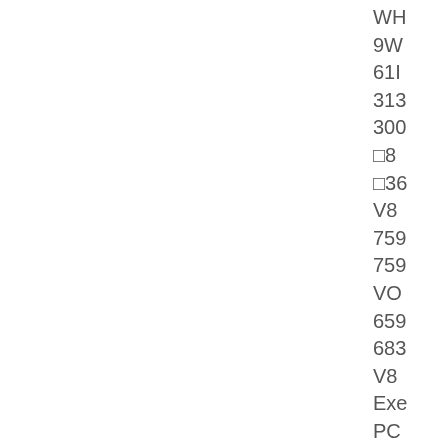WH
9W
61I
313
300
□8
□36
V8
759
759
VO
659
683
V8
Exe
PC
V8
5D
4T